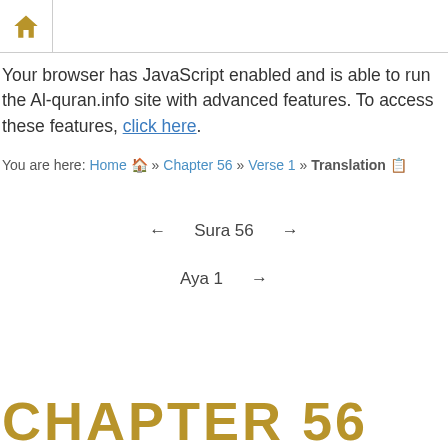Home icon navigation header
Your browser has JavaScript enabled and is able to run the Al-quran.info site with advanced features. To access these features, click here.
You are here: Home » Chapter 56 » Verse 1 » Translation
← Sura 56 →
Aya 1 →
CHAPTER 56